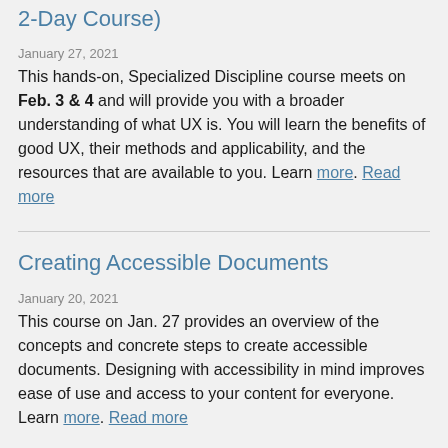2-Day Course)
January 27, 2021
This hands-on, Specialized Discipline course meets on Feb. 3 & 4 and will provide you with a broader understanding of what UX is. You will learn the benefits of good UX, their methods and applicability, and the resources that are available to you. Learn more. Read more.
Creating Accessible Documents
January 20, 2021
This course on Jan. 27 provides an overview of the concepts and concrete steps to create accessible documents. Designing with accessibility in mind improves ease of use and access to your content for everyone. Learn more. Read more.